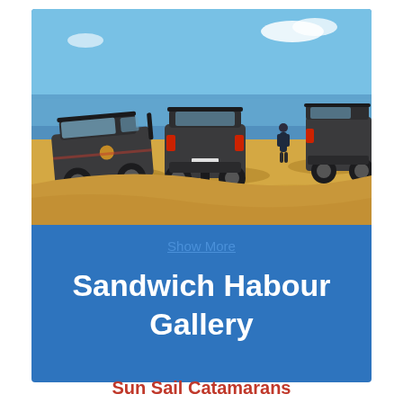[Figure (photo): Three dark-colored 4WD SUVs parked on golden sand dunes with blue ocean and sky in the background. A person stands near the vehicles.]
Show More
Sandwich Habour Gallery
Sun Sail Catamarans